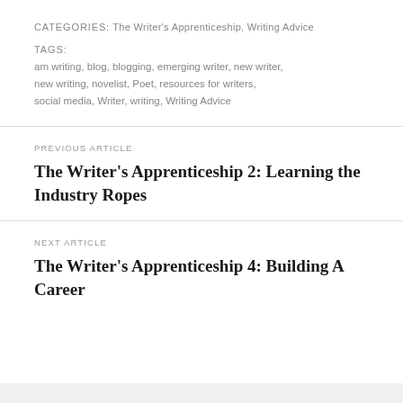CATEGORIES: The Writer's Apprenticeship, Writing Advice
TAGS: am writing, blog, blogging, emerging writer, new writer, new writing, novelist, Poet, resources for writers, social media, Writer, writing, Writing Advice
PREVIOUS ARTICLE
The Writer's Apprenticeship 2: Learning the Industry Ropes
NEXT ARTICLE
The Writer's Apprenticeship 4: Building A Career